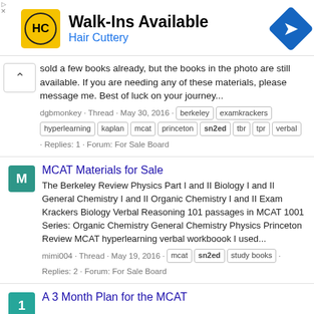[Figure (screenshot): Hair Cuttery advertisement banner with logo, 'Walk-Ins Available' headline, and navigation arrow icon]
sold a few books already, but the books in the photo are still available. If you are needing any of these materials, please message me. Best of luck on your journey...
dgbmonkey · Thread · May 30, 2016 · berkeley examkrackers hyperlearning kaplan mcat princeton sn2ed tbr tpr verbal · Replies: 1 · Forum: For Sale Board
MCAT Materials for Sale
The Berkeley Review Physics Part I and II Biology I and II General Chemistry I and II Organic Chemistry I and II Exam Krackers Biology Verbal Reasoning 101 passages in MCAT 1001 Series: Organic Chemistry General Chemistry Physics Princeton Review MCAT hyperlearning verbal workboook I used...
mimi004 · Thread · May 19, 2016 · mcat sn2ed study books · Replies: 2 · Forum: For Sale Board
A 3 Month Plan for the MCAT